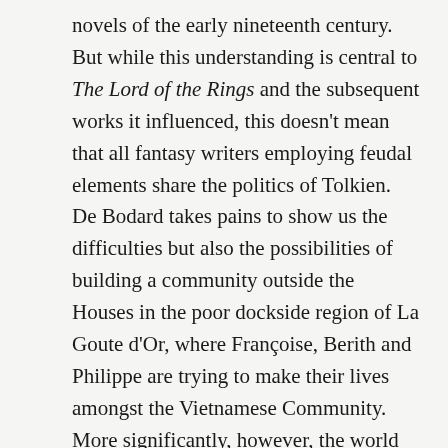novels of the early nineteenth century. But while this understanding is central to The Lord of the Rings and the subsequent works it influenced, this doesn't mean that all fantasy writers employing feudal elements share the politics of Tolkien. De Bodard takes pains to show us the difficulties but also the possibilities of building a community outside the Houses in the poor dockside region of La Goute d'Or, where Françoise, Berith and Philippe are trying to make their lives amongst the Vietnamese Community. More significantly, however, the world she depicts is devoid of the patriarchal and compulsory-heterosexual logic that once upon a time was taken for granted as the